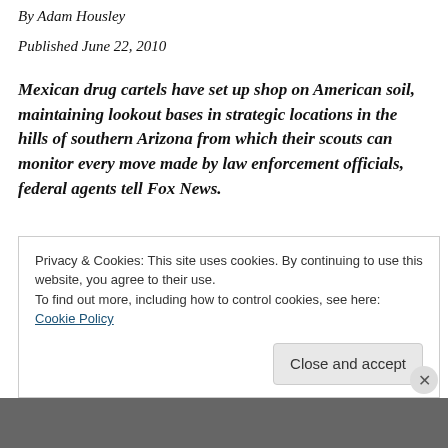By Adam Housley
Published June 22, 2010
Mexican drug cartels have set up shop on American soil, maintaining lookout bases in strategic locations in the hills of southern Arizona from which their scouts can monitor every move made by law enforcement officials, federal agents tell Fox News.
The scouts are supplied by drivers who bring them food, water, batteries for radios — all the items they need to stay in the wilderness for a long time.
Privacy & Cookies: This site uses cookies. By continuing to use this website, you agree to their use.
To find out more, including how to control cookies, see here: Cookie Policy
Close and accept